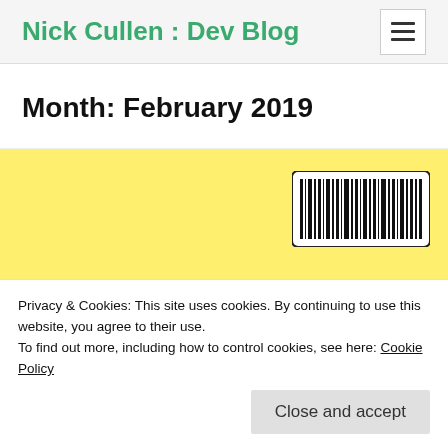Nick Cullen : Dev Blog
Month: February 2019
[Figure (illustration): Yellow background area with a barcode image in the upper right and partial Flutter logo/text at the bottom left]
Privacy & Cookies: This site uses cookies. By continuing to use this website, you agree to their use.
To find out more, including how to control cookies, see here: Cookie Policy
Close and accept